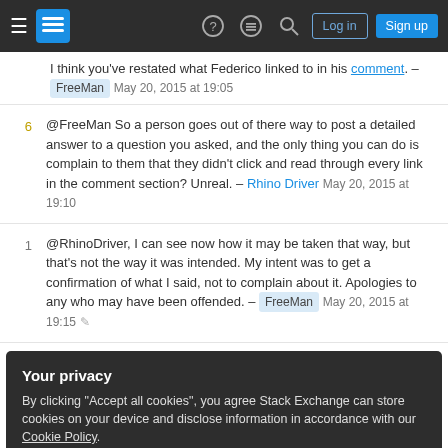Stack Exchange navigation bar with hamburger menu, logo, help, chat, search, Log in, Sign up buttons
I think you've restated what Federico linked to in his comment. – FreeMan May 20, 2015 at 19:05
@FreeMan So a person goes out of there way to post a detailed answer to a question you asked, and the only thing you can do is complain to them that they didn't click and read through every link in the comment section? Unreal. – Rhino Driver May 20, 2015 at 19:10
@RhinoDriver, I can see now how it may be taken that way, but that's not the way it was intended. My intent was to get a confirmation of what I said, not to complain about it. Apologies to any who may have been offended. – FreeMan May 20, 2015 at 19:15
Your privacy
By clicking "Accept all cookies", you agree Stack Exchange can store cookies on your device and disclose information in accordance with our Cookie Policy.
Accept all cookies   Customize settings
The bulk of flying is done in the vicinity of level flight